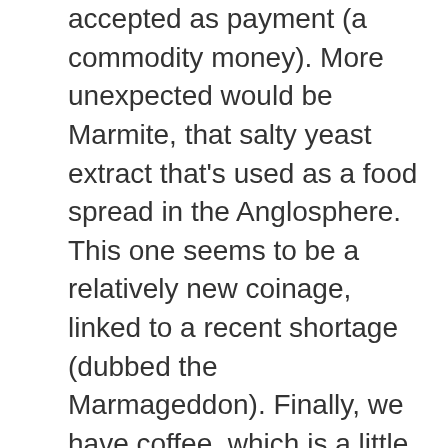accepted as payment (a commodity money). More unexpected would be Marmite, that salty yeast extract that's used as a food spread in the Anglosphere. This one seems to be a relatively new coinage, linked to a recent shortage (dubbed the Marmageddon). Finally, we have coffee, which is a little dubious, but you all know my feelings on coffee at this point.
Well, I think Bourbon barrel imperial stouts should probably be added to the list of substances that qualify as black gold. And this one is certainly worthy of the label, if not quite as spectacular as its Pappy aged sibling. So prep your cauldrons and consult your Defense Against the Dark Arts textbook, it's time to drink some Black Magick potions: